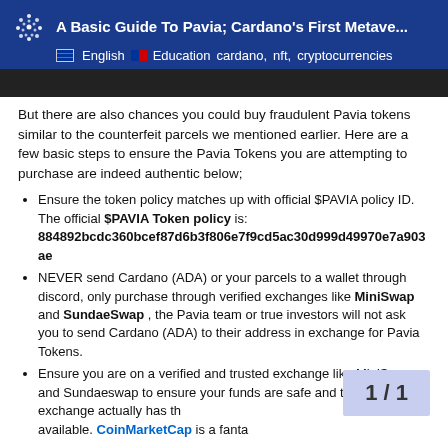A Basic Guide To Pavia; Cardano's First Metave... | English | Education | cardano, nft, cryptocurrencies
But there are also chances you could buy fraudulent Pavia tokens similar to the counterfeit parcels we mentioned earlier. Here are a few basic steps to ensure the Pavia Tokens you are attempting to purchase are indeed authentic below;
Ensure the token policy matches up with official $PAVIA policy ID. The official $PAVIA Token policy is: 884892bcdc360bcef87d6b3f806e7f9cd5ac30d999d49970e7a903ae
NEVER send Cardano (ADA) or your parcels to a wallet through discord, only purchase through verified exchanges like MiniSwap and SundaeSwap , the Pavia team or true investors will not ask you to send Cardano (ADA) to their address in exchange for Pavia Tokens.
Ensure you are on a verified and trusted exchange like MiniSwap and Sundaeswap to ensure your funds are safe and that the exchange actually has the tokens available. CoinMarketCap is a fanta